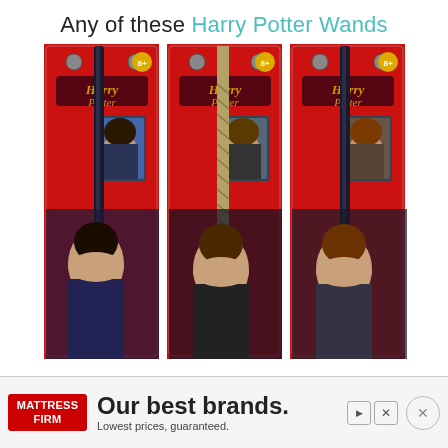Any of these Harry Potter Wands
[Figure (photo): Three Harry Potter wand toys in red blister packaging, each featuring a different character (Harry Potter, Hermione Granger, Ron Weasley) with the Harry Potter logo and character photos on the packaging.]
[Figure (infographic): Advertisement banner for Mattress Firm: red logo on left reading 'MATTRESS FIRM', large bold text 'Our best brands.' with smaller text 'Lowest prices, guaranteed.' Play and close buttons visible.]